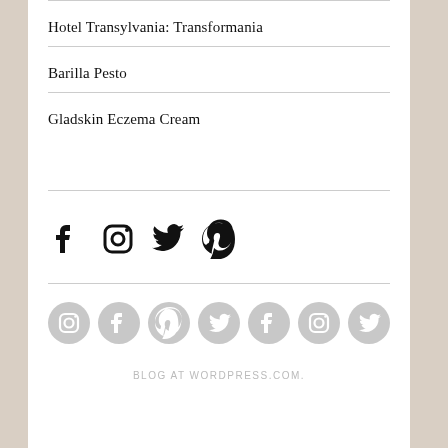Hotel Transylvania: Transformania
Barilla Pesto
Gladskin Eczema Cream
[Figure (infographic): Social media icons row: Facebook, Instagram, Twitter, Pinterest]
[Figure (infographic): Footer social media icons row (gray circles): Instagram, Facebook, Pinterest, Twitter, Facebook, Instagram, Twitter]
BLOG AT WORDPRESS.COM.